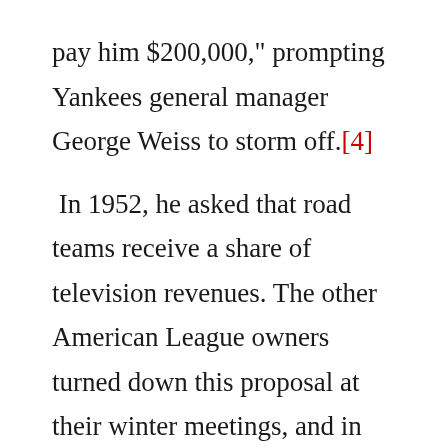pay him $200,000," prompting Yankees general manager George Weiss to storm off.[4] In 1952, he asked that road teams receive a share of television revenues. The other American League owners turned down this proposal at their winter meetings, and in response, Veeck threatened to fight back with a "secret weapon." In response, the Yankees, Red Sox, and Indians took the Browns off their night-game schedule, when the revenues were largest. With the Browns so dependent upon